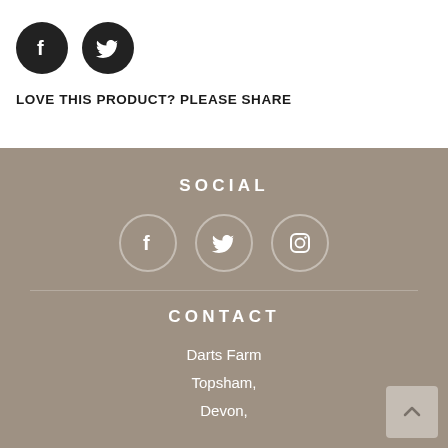[Figure (illustration): Facebook and Twitter circular social media icons in black]
LOVE THIS PRODUCT? PLEASE SHARE
SOCIAL
[Figure (illustration): Facebook, Twitter, and Instagram circular social media icons in white outline on tan background]
CONTACT
Darts Farm
Topsham,
Devon,